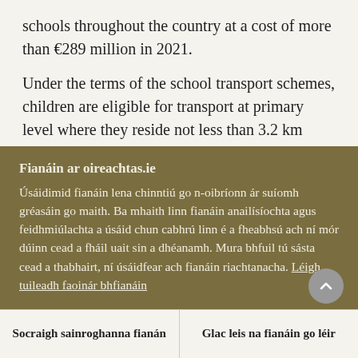schools throughout the country at a cost of more than €289 million in 2021.
Under the terms of the school transport schemes, children are eligible for transport at primary level where they reside not less than 3.2 km from and are attending their nearest national school, and at post-primary level where they reside not less than 4.8 km from and are attending their nearest post-primary
Fianáin ar oireachtas.ie
Úsáidimid fianáin lena chinntiú go n-oibríonn ár suíomh gréasáin go maith. Ba mhaith linn fianáin anailísíochta agus feidhmiúlachta a úsáid chun cabhrú linn é a fheabhsú ach ní mór dúinn cead a fháil uait sin a dhéanamh. Mura bhfuil tú sásta cead a thabhairt, ní úsáidfear ach fianáin riachtanacha. Léigh tuileadh faoinár bhfianáin
Socraigh sainroghanna fianán
Glac leis na fianáin go léir